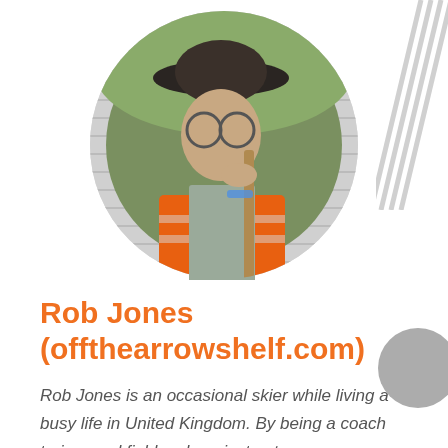[Figure (photo): Circular profile photo of Rob Jones, a man wearing a dark wide-brim hat, glasses, and an orange high-visibility vest, leaning on a wooden staff with greenery in the background.]
Rob Jones (offthearrowshelf.com)
Rob Jones is an occasional skier while living a busy life in United Kingdom. By being a coach trainer and field archery instructor,